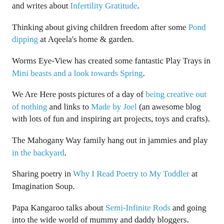and writes about Infertility Gratitude.
Thinking about giving children freedom after some Pond dipping at Aqeela's home & garden.
Worms Eye-View has created some fantastic Play Trays in Mini beasts and a look towards Spring.
We Are Here posts pictures of a day of being creative out of nothing and links to Made by Joel (an awesome blog with lots of fun and inspiring art projects, toys and crafts).
The Mahogany Way family hang out in jammies and play in the backyard.
Sharing poetry in Why I Read Poetry to My Toddler at Imagination Soup.
Papa Kangaroo talks about Semi-Infinite Rods and going into the wide world of mummy and daddy bloggers.
Just a Bald Man explains Why We Unschool